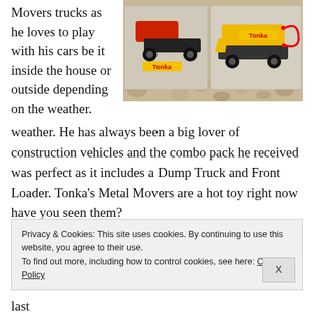Movers trucks as he loves to play with his cars be it inside the house or outside depending on the weather. He has always been a big lover of construction vehicles and the combo pack he received was perfect as it includes a Dump Truck and Front Loader. Tonka's Metal Movers are a hot toy right now have you seen them?
[Figure (photo): Two Tonka Metal Movers toy trucks (a dump truck and front loader) in their packaging, placed on gravel/pebbles outdoors.]
The Dump Truck has a moveable bed, and Front Loader's moveable blade means they don't have to pretend play they can
Privacy & Cookies: This site uses cookies. By continuing to use this website, you agree to their use.
To find out more, including how to control cookies, see here: Cookie Policy
last